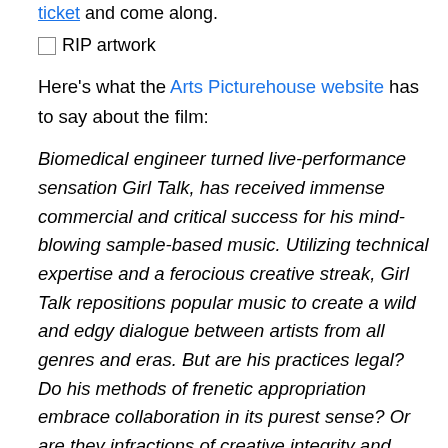ticket and come along.
[Figure (photo): RIP artwork - broken image placeholder]
Here's what the Arts Picturehouse website has to say about the film:
Biomedical engineer turned live-performance sensation Girl Talk, has received immense commercial and critical success for his mind-blowing sample-based music. Utilizing technical expertise and a ferocious creative streak, Girl Talk repositions popular music to create a wild and edgy dialogue between artists from all genres and eras. But are his practices legal? Do his methods of frenetic appropriation embrace collaboration in its purest sense? Or are they infractions of creative integrity and violations of copyright?